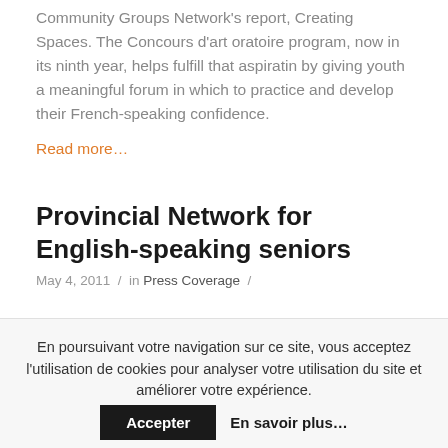Community Groups Network's report, Creating Spaces. The Concours d'art oratoire program, now in its ninth year, helps fulfill that aspiratin by giving youth a meaningful forum in which to practice and develop their French-speaking confidence.
Read more...
Provincial Network for English-speaking seniors
May 4, 2011 / in Press Coverage /
En poursuivant votre navigation sur ce site, vous acceptez l'utilisation de cookies pour analyser votre utilisation du site et améliorer votre expérience.